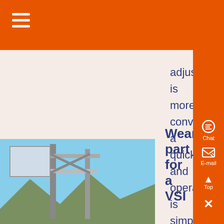adjustment is more convenient and quick, and operation is simpler and easier SCM Ultrafine Mill Simple structure, low failure rate, large processing capacity, high cleanliness T130X Reinforced Ultrafine Mill Lower maintenance costs, longer service life of wear parts, and greater processing capacity...
[Figure (photo): Industrial machinery - VSI wear part, metal frame structure outdoors against blue sky with mountains]
Wear part for a VSI